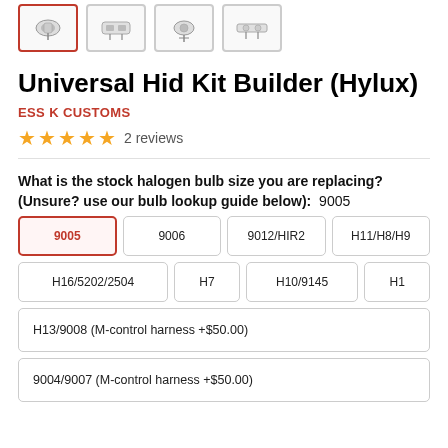[Figure (photo): Product thumbnail images row — first selected (red border), followed by three more thumbnails of HID kit components]
Universal Hid Kit Builder (Hylux)
ESS K CUSTOMS
★★★★★ 2 reviews
What is the stock halogen bulb size you are replacing? (Unsure? use our bulb lookup guide below): 9005
9005 (selected)
9006
9012/HIR2
H11/H8/H9
H16/5202/2504
H7
H10/9145
H1
H13/9008 (M-control harness +$50.00)
9004/9007 (M-control harness +$50.00)